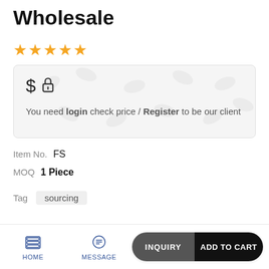Wholesale
[Figure (other): Five orange star rating icons]
$ 🔒
You need login check price / Register to be our client
Item No.   FS
MOQ   1 Piece
Tag   sourcing
Choice   Color classification / size   >
HOME   MESSAGE   INQUIRY   ADD TO CART